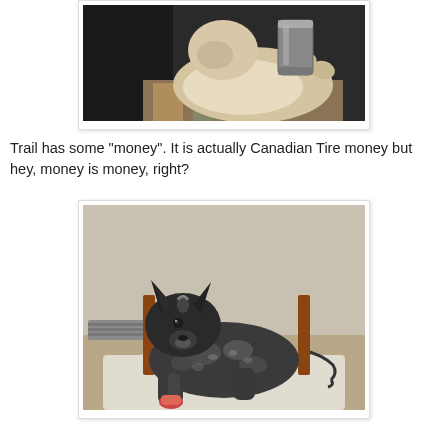[Figure (photo): A light-colored dog lying on its back in a car/crate, with a metal container near its face, on a colorful blanket]
Trail has some "money". It is actually Canadian Tire money but hey, money is money, right?
[Figure (photo): A black and grey speckled dog (Australian Cattle Dog / Blue Heeler) lying on a white mat on the floor, with a bandage on one paw, wooden chair legs and a cord visible in background]